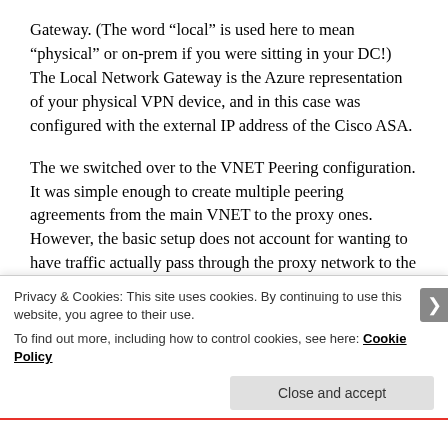Gateway. (The word “local” is used here to mean “physical” or on-prem if you were sitting in your DC!) The Local Network Gateway is the Azure representation of your physical VPN device, and in this case was configured with the external IP address of the Cisco ASA.
The we switched over to the VNET Peering configuration. It was simple enough to create multiple peering agreements from the main VNET to the proxy ones. However, the basic setup does not account for wanting to have traffic actually pass through the proxy network to the remote.
Privacy & Cookies: This site uses cookies. By continuing to use this website, you agree to their use.
To find out more, including how to control cookies, see here: Cookie Policy